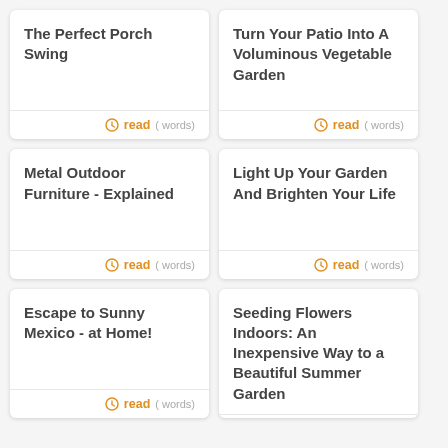The Perfect Porch Swing
read ( words)
Turn Your Patio Into A Voluminous Vegetable Garden
read ( words)
Metal Outdoor Furniture - Explained
read ( words)
Light Up Your Garden And Brighten Your Life
read ( words)
Escape to Sunny Mexico - at Home!
read ( words)
Seeding Flowers Indoors: An Inexpensive Way to a Beautiful Summer Garden
read ( words)